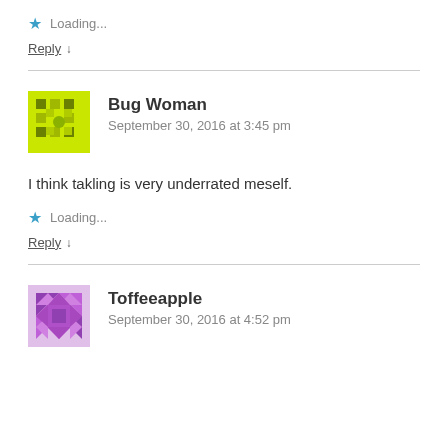Loading...
Reply ↓
[Figure (illustration): Green geometric patterned avatar for Bug Woman]
Bug Woman
September 30, 2016 at 3:45 pm
I think takling is very underrated meself.
Loading...
Reply ↓
[Figure (illustration): Purple geometric patterned avatar for Toffeeapple]
Toffeeapple
September 30, 2016 at 4:52 pm